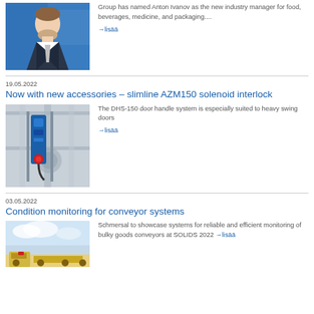[Figure (photo): Portrait photo of Anton Ivanov in business suit against blue background]
Group has named Anton Ivanov as the new industry manager for food, beverages, medicine, and packaging....
→lisää
19.05.2022
Now with new accessories – slimline AZM150 solenoid interlock
[Figure (photo): Industrial safety interlock device (blue) mounted on machinery]
The DHS-150 door handle system is especially suited to heavy swing doors
→lisää
03.05.2022
Condition monitoring for conveyor systems
[Figure (photo): Conveyor system machinery outdoors against sky]
Schmersal to showcase systems for reliable and efficient monitoring of bulky goods conveyors at SOLIDS 2022
→lisää